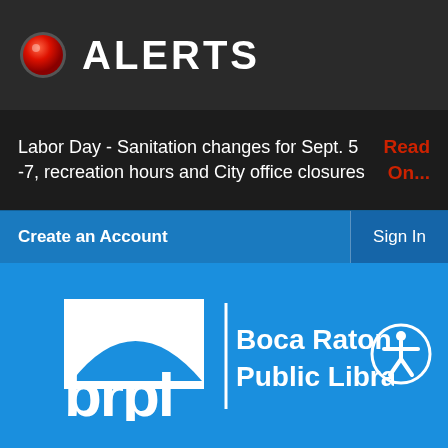ALERTS
Labor Day - Sanitation changes for Sept. 5 -7, recreation hours and City office closures
Read On...
Create an Account
Sign In
[Figure (logo): Boca Raton Public Library logo (brpl) with white arch and text on blue background]
Catalog Home
Log In / My BRPL
search the catalog here